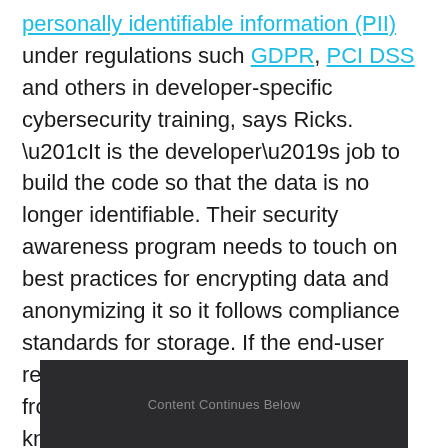personally identifiable information (PII) under regulations such as GDPR, PCI DSS and others in developer-specific cybersecurity training, says Ricks. “It is the developer’s job to build the code so that the data is no longer identifiable. Their security awareness program needs to touch on best practices for encrypting data and anonymizing it so it follows compliance standards for storage. If the end-user requests their data or wants it removed from the system, the engineer has to know the best practices for coding this feature.”
[Figure (other): Dark advertisement banner with text 'Content Continues Below']